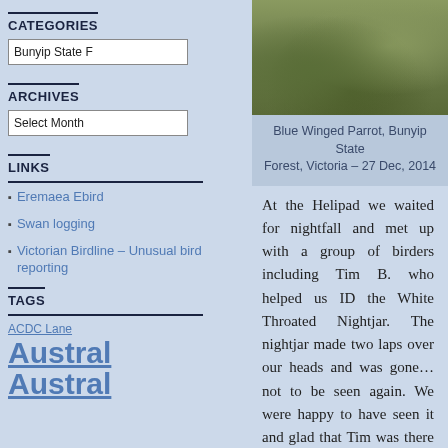CATEGORIES
Bunyip State F...
ARCHIVES
Select Month
LINKS
Eremaea Ebird
Swan logging
Victorian Birdline – Unusual bird reporting
TAGS
ACDC Lane
Austral...
[Figure (photo): Close-up ground-level photo of Blue Winged Parrot in Bunyip State Forest, Victoria]
Blue Winged Parrot, Bunyip State Forest, Victoria – 27 Dec, 2014
At the Helipad we waited for nightfall and met up with a group of birders including Tim B. who helped us ID the White Throated Nightjar. The nightjar made two laps over our heads and was gone…not to be seen again. We were happy to have seen it and glad that Tim was there to help ID it – another lifer! No pictures unfortunately. John took a few pics of the moon while we waited for more birds to turn up. We had a walk along the track behind the helipad and heard a heap of Boobooks